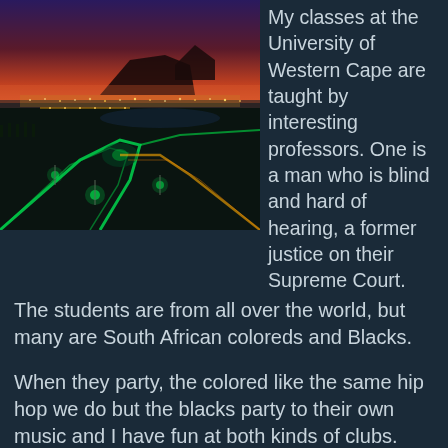[Figure (photo): Aerial night photograph of Cape Town, South Africa, showing highways with light trails in green, city lights, waterfront, and Table Mountain silhouetted against a dramatic red and purple sunset sky.]
My classes at the University of Western Cape are taught by interesting professors. One is a man who is blind and hard of hearing, a former justice on their Supreme Court. The students are from all over the world, but many are South African coloreds and Blacks.
When they party, the colored like the same hip hop we do but the blacks party to their own music and I have fun at both kinds of clubs.
I feel like I am at home, because I am enjoying Africa. The